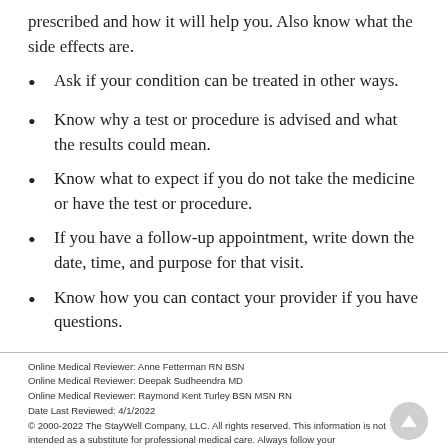prescribed and how it will help you. Also know what the side effects are.
Ask if your condition can be treated in other ways.
Know why a test or procedure is advised and what the results could mean.
Know what to expect if you do not take the medicine or have the test or procedure.
If you have a follow-up appointment, write down the date, time, and purpose for that visit.
Know how you can contact your provider if you have questions.
Online Medical Reviewer: Anne Fetterman RN BSN
Online Medical Reviewer: Deepak Sudheendra MD
Online Medical Reviewer: Raymond Kent Turley BSN MSN RN
Date Last Reviewed: 4/1/2022
© 2000-2022 The StayWell Company, LLC. All rights reserved. This information is not intended as a substitute for professional medical care. Always follow your